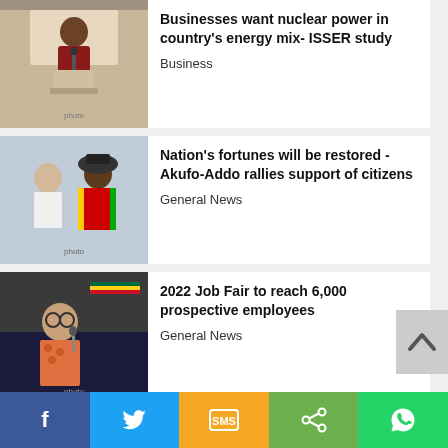[Figure (photo): Man in suit speaking at a podium]
Businesses want nuclear power in country's energy mix- ISSER study
Business
[Figure (photo): Two people in formal attire]
Nation's fortunes will be restored - Akufo-Addo rallies support of citizens
General News
[Figure (photo): Man with glasses speaking at event]
2022 Job Fair to reach 6,000 prospective employees
General News
[Figure (photo): Man in clerical robes]
Review free SHS policy to address challenges - Presby Church urges govt